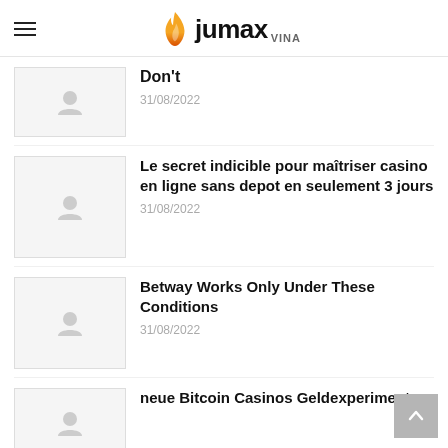Jumax VINA
Don't — 31/08/2022
Le secret indicible pour maîtriser casino en ligne sans depot en seulement 3 jours — 31/08/2022
Betway Works Only Under These Conditions — 31/08/2022
neue Bitcoin Casinos Geldexperiment